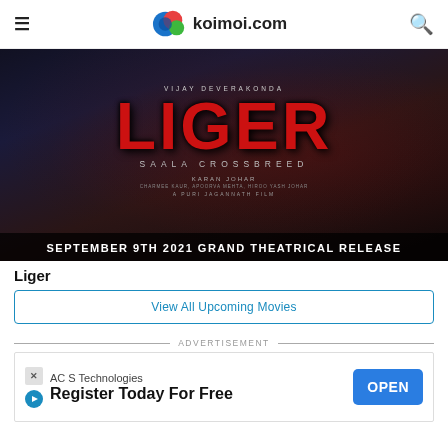koimoi.com
[Figure (photo): Movie poster for Liger (Saala Crossbreed) featuring dark background with text: Vijay Deverakonda, LIGER, SAALA CROSSBREED, Karan Johar, Charmee Kaur, Apoorva Mehta, Hiroo Yash Johar, A Puri Jagannath Film. September 9th 2021 Grand Theatrical Release.]
Liger
View All Upcoming Movies
ADVERTISEMENT
AC S Technologies
Register Today For Free
OPEN